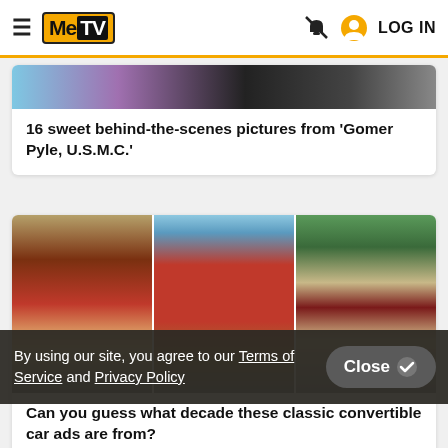MeTV — LOG IN
[Figure (screenshot): Partial image strip at top of card showing colorful behind-the-scenes photo from Gomer Pyle]
16 sweet behind-the-scenes pictures from 'Gomer Pyle, U.S.M.C.'
[Figure (photo): Three vintage convertible car advertisement photos side by side: left shows red open-top car interior, center shows red Thunderbird convertible on gravel, right shows couple beside a car near a mid-century home]
By using our site, you agree to our Terms of Service and Privacy Policy
Can you guess what decade these classic convertible car ads are from?